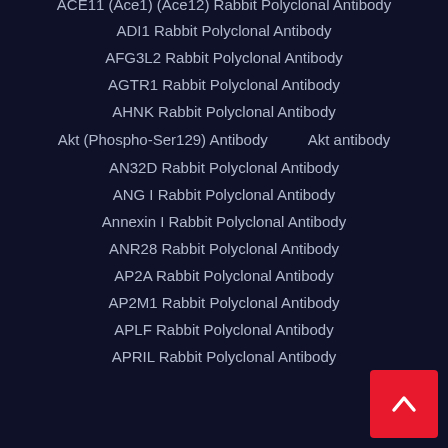ACE11 (Ace1) (Ace12) Rabbit Polyclonal Antibody
ADI1 Rabbit Polyclonal Antibody
AFG3L2 Rabbit Polyclonal Antibody
AGTR1 Rabbit Polyclonal Antibody
AHNK Rabbit Polyclonal Antibody
Akt (Phospho-Ser129) Antibody    Akt antibody
AN32D Rabbit Polyclonal Antibody
ANG I Rabbit Polyclonal Antibody
Annexin I Rabbit Polyclonal Antibody
ANR28 Rabbit Polyclonal Antibody
AP2A Rabbit Polyclonal Antibody
AP2M1 Rabbit Polyclonal Antibody
APLF Rabbit Polyclonal Antibody
APRIL Rabbit Polyclonal Antibody